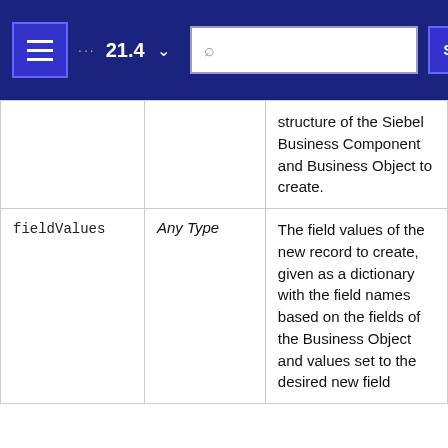21.4 SEARCH navigation header
| Parameter | Type | Description |
| --- | --- | --- |
|  |  | structure of the Siebel Business Component and Business Object to create. |
| fieldValues | Any Type | The field values of the new record to create, given as a dictionary with the field names based on the fields of the Business Object and values set to the desired new field |